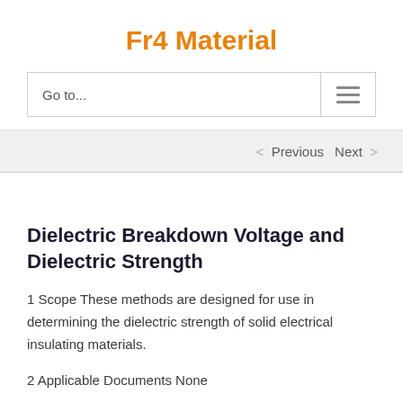Fr4 Material
Go to...
< Previous   Next >
Dielectric Breakdown Voltage and Dielectric Strength
1 Scope These methods are designed for use in determining the dielectric strength of solid electrical insulating materials.
2 Applicable Documents None